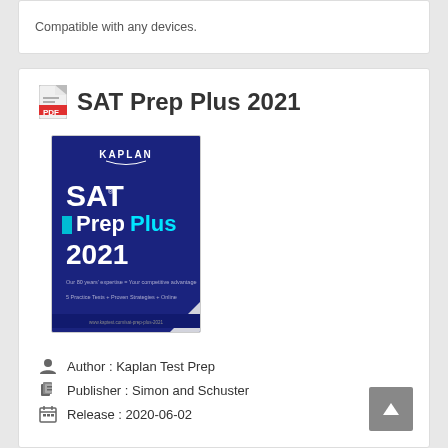Compatible with any devices.
SAT Prep Plus 2021
[Figure (illustration): Book cover of SAT Prep Plus 2021 by Kaplan. Dark blue cover with 'KAPLAN' at top, large white text 'SAT Prep Plus 2021' with a teal/cyan colored word 'Plus', small cyan square icon, and subtext about 5 Practice Tests, Proven Strategies, Online.]
Author : Kaplan Test Prep
Publisher : Simon and Schuster
Release : 2020-06-02